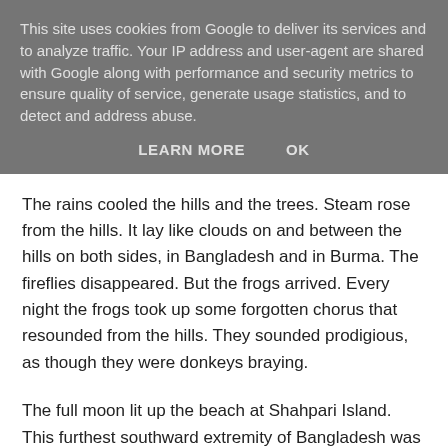This site uses cookies from Google to deliver its services and to analyze traffic. Your IP address and user-agent are shared with Google along with performance and security metrics to ensure quality of service, generate usage statistics, and to detect and address abuse.
LEARN MORE    OK
The rains cooled the hills and the trees. Steam rose from the hills. It lay like clouds on and between the hills on both sides, in Bangladesh and in Burma. The fireflies disappeared. But the frogs arrived. Every night the frogs took up some forgotten chorus that resounded from the hills. They sounded prodigious, as though they were donkeys braying.
The full moon lit up the beach at Shahpari Island. This furthest southward extremity of Bangladesh was not an island anymore. Somehow the misnomer had stuck, and partly perhaps because it conveyed all the advantages of an island. On the western side lay the Bay of Bengal; a few